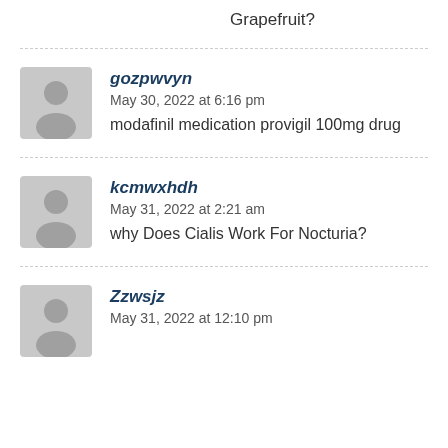Grapefruit?
gozpwvyn
May 30, 2022 at 6:16 pm
modafinil medication provigil 100mg drug
kcmwxhdh
May 31, 2022 at 2:21 am
why Does Cialis Work For Nocturia?
Zzwsjz
May 31, 2022 at 12:10 pm